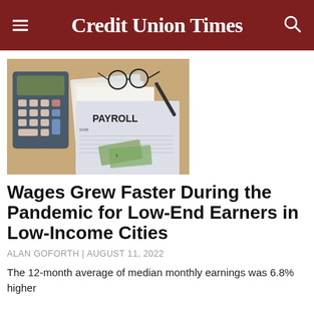Credit Union Times
[Figure (photo): A payroll form labeled PAYROLL and 1040, surrounded by a calculator, glasses, cash, and documents on a desk.]
Wages Grew Faster During the Pandemic for Low-End Earners in Low-Income Cities
ALAN GOFORTH | AUGUST 11, 2022
The 12-month average of median monthly earnings was 6.8% higher